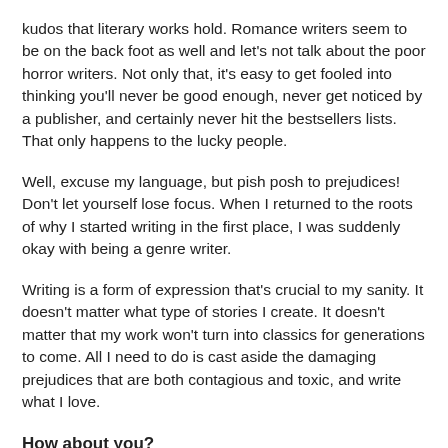kudos that literary works hold. Romance writers seem to be on the back foot as well and let's not talk about the poor horror writers. Not only that, it's easy to get fooled into thinking you'll never be good enough, never get noticed by a publisher, and certainly never hit the bestsellers lists. That only happens to the lucky people.
Well, excuse my language, but pish posh to prejudices! Don't let yourself lose focus. When I returned to the roots of why I started writing in the first place, I was suddenly okay with being a genre writer.
Writing is a form of expression that's crucial to my sanity. It doesn't matter what type of stories I create. It doesn't matter that my work won't turn into classics for generations to come. All I need to do is cast aside the damaging prejudices that are both contagious and toxic, and write what I love.
How about you?
This post was written for the Insecure Writer's Support Group. To join or check it out, click HERE